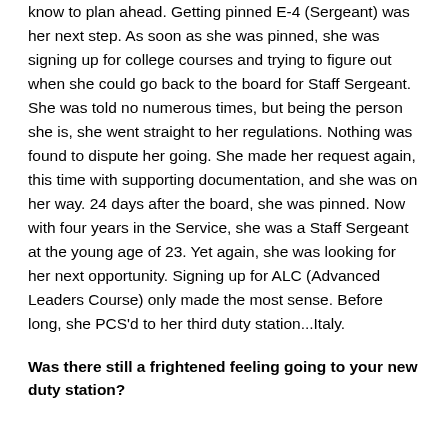know to plan ahead. Getting pinned E-4 (Sergeant) was her next step. As soon as she was pinned, she was signing up for college courses and trying to figure out when she could go back to the board for Staff Sergeant. She was told no numerous times, but being the person she is, she went straight to her regulations. Nothing was found to dispute her going. She made her request again, this time with supporting documentation, and she was on her way. 24 days after the board, she was pinned. Now with four years in the Service, she was a Staff Sergeant at the young age of 23. Yet again, she was looking for her next opportunity. Signing up for ALC (Advanced Leaders Course) only made the most sense. Before long, she PCS'd to her third duty station...Italy.
Was there still a frightened feeling going to your new duty station?